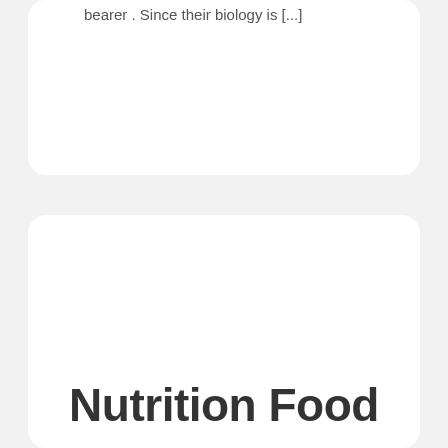bearer . Since their biology is [...]
Nutrition Food